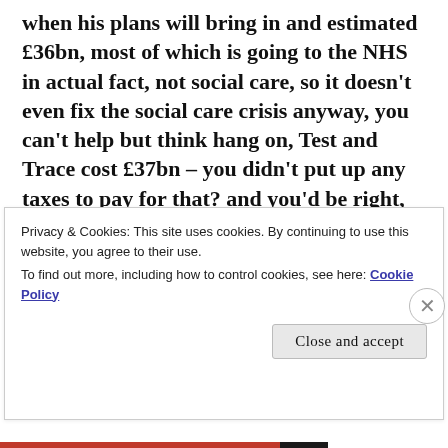when his plans will bring in and estimated £36bn, most of which is going to the NHS in actual fact, not social care, so it doesn't even fix the social care crisis anyway, you can't help but think hang on, Test and Trace cost £37bn – you didn't put up any taxes to pay for that? and you'd be right, because taxation to pay for stuff is a
Privacy & Cookies: This site uses cookies. By continuing to use this website, you agree to their use. To find out more, including how to control cookies, see here: Cookie Policy
Close and accept